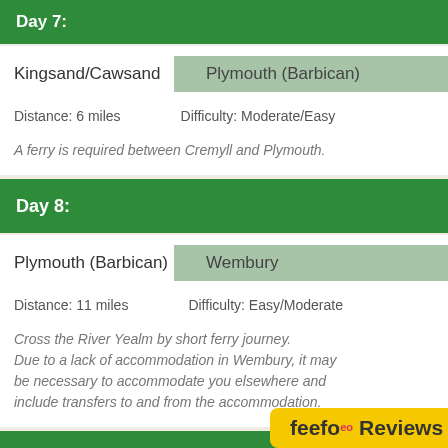Day 7:
Kingsand/Cawsand → Plymouth (Barbican)
Distance: 6 miles   Difficulty: Moderate/Easy
A ferry is required between Cremyll and Plymouth.
Day 8:
Plymouth (Barbican) → Wembury
Distance: 11 miles   Difficulty: Easy/Moderate
Cross the River Yealm by short ferry journey. Due to a lack of accommodation in Wembury, it may be necessary to accommodate you elsewhere and include transfers to and from the accommodation.
Day 9:
Wembury → Bigbury on Sea
Distance: 15.5 miles   Difficulty: Moderate
Cross the River... Due to a lack of...  ...ea, it